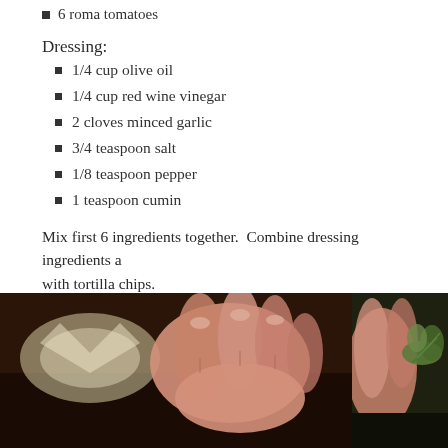6 roma tomatoes
Dressing:
1/4 cup olive oil
1/4 cup red wine vinegar
2 cloves minced garlic
3/4 teaspoon salt
1/8 teaspoon pepper
1 teaspoon cumin
Mix first 6 ingredients together.  Combine dressing ingredients a… with tortilla chips.
[Figure (photo): Close-up photo of hands handling what appears to be a tortilla chip or food item, dark background]
[Figure (photo): Partial close-up photo of hands with greenery, partially cropped]